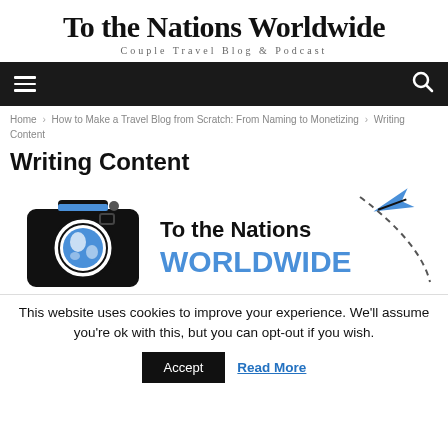To the Nations Worldwide
Couple Travel Blog & Podcast
[Figure (screenshot): Black navigation bar with hamburger menu icon on left and search icon on right]
Home › How to Make a Travel Blog from Scratch: From Naming to Monetizing › Writing Content
Writing Content
[Figure (logo): To the Nations Worldwide logo: black camera with blue world globe lens, text 'To the Nations WORLDWIDE' with blue airplane graphic]
This website uses cookies to improve your experience. We'll assume you're ok with this, but you can opt-out if you wish.
Accept    Read More